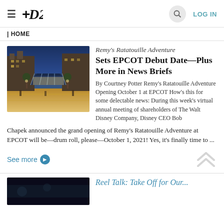D23 | LOG IN
HOME
Remy's Ratatouille Adventure Sets EPCOT Debut Date—Plus More in News Briefs
By Courtney Potter Remy's Ratatouille Adventure Opening October 1 at EPCOT How's this for some delectable news: During this week's virtual annual meeting of shareholders of The Walt Disney Company, Disney CEO Bob Chapek announced the grand opening of Remy's Ratatouille Adventure at EPCOT will be—drum roll, please—October 1, 2021! Yes, it's finally time to ...
See more
[Figure (photo): Nighttime photo of a European-style plaza with illuminated glass pavilion structure, stone buildings, and warm lighting]
[Figure (photo): Dark image, bottom strip of next article thumbnail]